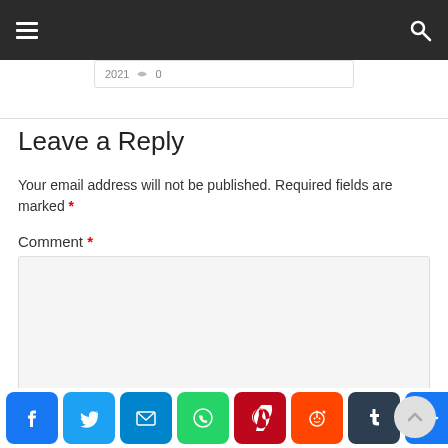Navigation bar with hamburger menu and search icon
2021  0
Leave a Reply
Your email address will not be published. Required fields are marked *
Comment *
[Figure (other): Social sharing bar with icons for Facebook, Twitter, Email, WhatsApp, Pinterest, Reddit, Tumblr, and a plus/share button]